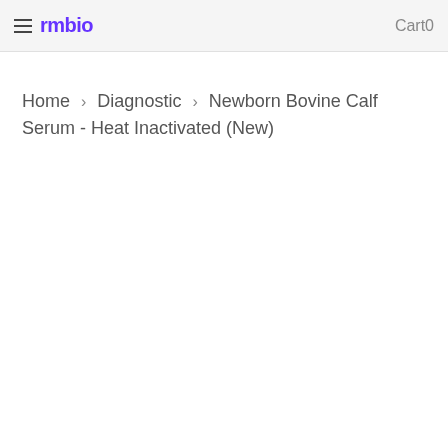≡ rmbio   Cart0
Home › Diagnostic › Newborn Bovine Calf Serum - Heat Inactivated (New)